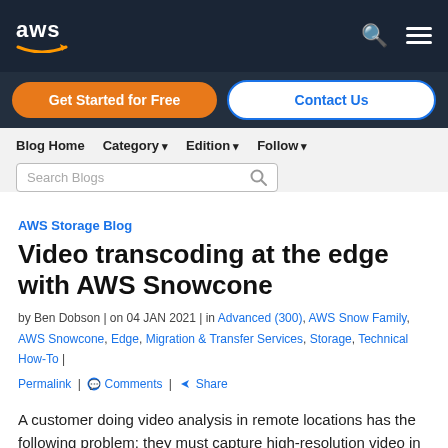[Figure (logo): AWS logo with white text and orange arrow/smile graphic on dark navy background]
Get Started for Free | Contact Us
Blog Home  Category  Edition  Follow  Search Blogs
AWS Storage Blog
Video transcoding at the edge with AWS Snowcone
by Ben Dobson | on 04 JAN 2021 | in Advanced (300), AWS Snow Family, AWS Snowcone, Edge, Migration & Transfer Services, Storage, Technical How-To | Permalink | Comments | Share
A customer doing video analysis in remote locations has the following problem: they must capture high-resolution video in the